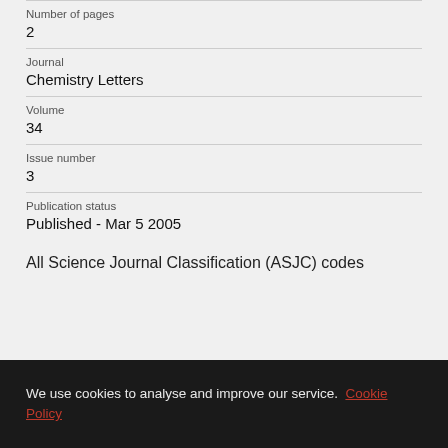Number of pages
2
Journal
Chemistry Letters
Volume
34
Issue number
3
Publication status
Published - Mar 5 2005
All Science Journal Classification (ASJC) codes
We use cookies to analyse and improve our service. Cookie Policy